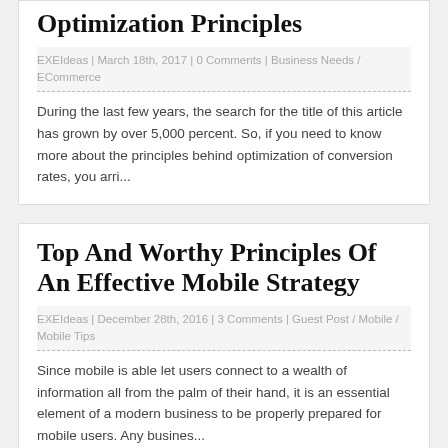Optimization Principles
EXEIdeas | March 18th, 2017 | 0 Comments | Business Needs / ECommerce
During the last few years, the search for the title of this article has grown by over 5,000 percent. So, if you need to know more about the principles behind optimization of conversion rates, you arri...
Top And Worthy Principles Of An Effective Mobile Strategy
EXEIdeas | December 28th, 2016 | 3 Comments | Guest Post / Mobile / Mobile Tips
Since mobile is able let users connect to a wealth of information all from the palm of their hand, it is an essential element of a modern business to be properly prepared for mobile users. Any busines...
An Overview On Benefits Of Outsourcing And Its Principles
EXEIdeas | May 4th, 2013 | 4 Comments | Guest Post / Make Money Online / Make Money Through Different Ways